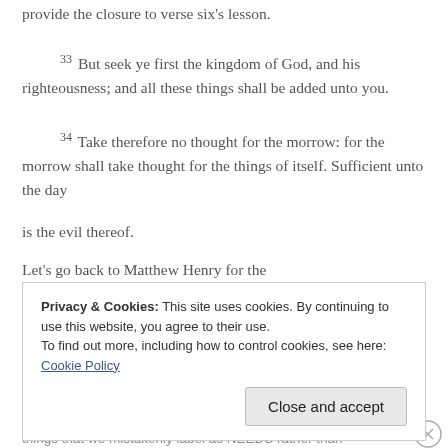provide the closure to verse six's lesson.
33 But seek ye first the kingdom of God, and his righteousness; and all these things shall be added unto you.
34 Take therefore no thought for the morrow: for the morrow shall take thought for the things of itself. Sufficient unto the day
is the evil thereof.
Let’s go back to Matthew Henry for the
Privacy & Cookies: This site uses cookies. By continuing to use this website, you agree to their use.
To find out more, including how to control cookies, see here: Cookie Policy
Close and accept
things that we mistakenly label as NEEDS rather than